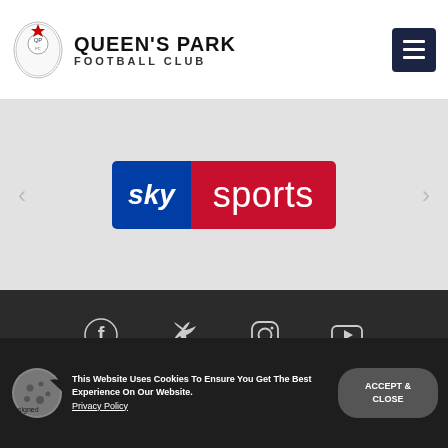QUEEN'S PARK FOOTBALL CLUB
[Figure (logo): Sky Sports logo — blue box with 'sky' in italic white text and red box with 'sports' in white text]
[Figure (infographic): Social media icons: Facebook, Twitter, Instagram, YouTube — white on dark background]
© 2022 The Queen's Park Football Club.  All rights reserved
This Website Uses Cookies To Ensure You Get The Best Experience On Our Website. Privacy Policy